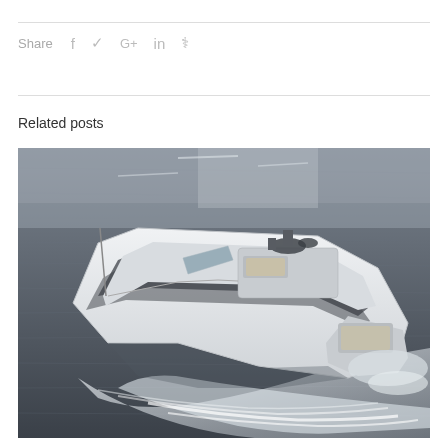Share  f  t  G+  in  P
Related posts
[Figure (photo): A luxury motor yacht speeding across open water, viewed from above and behind, creating a large white wake. The yacht is white with dark accent stripes, has a flybridge with navigation equipment, and a stern deck with seating. The water appears grey and choppy.]